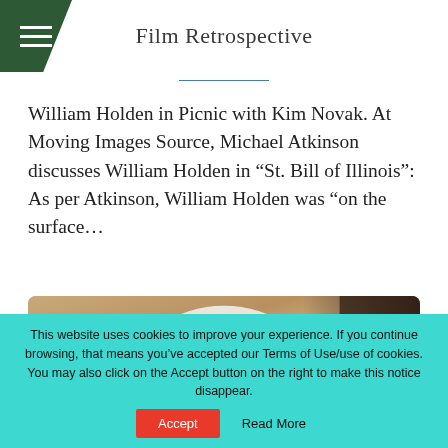Film Retrospective
William Holden in Picnic with Kim Novak. At Moving Images Source, Michael Atkinson discusses William Holden in “St. Bill of Illinois”: As per Atkinson, William Holden was “on the surface…
[Figure (photo): Vintage sepia-toned photograph showing a person in a white blouse, partial torso view]
This website uses cookies to improve your experience. If you continue browsing, that means you’ve accepted our Terms of Use/use of cookies. You may also click on the Accept button on the right to make this notice disappear.